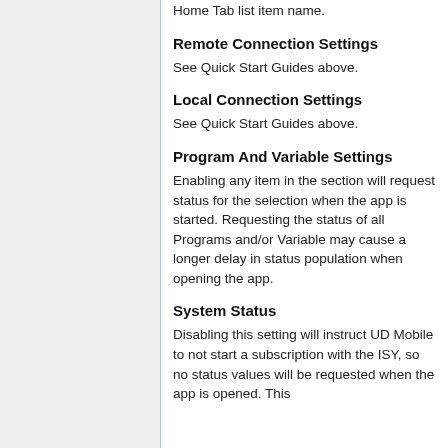Home Tab list item name.
Remote Connection Settings
See Quick Start Guides above.
Local Connection Settings
See Quick Start Guides above.
Program And Variable Settings
Enabling any item in the section will request status for the selection when the app is started. Requesting the status of all Programs and/or Variable may cause a longer delay in status population when opening the app.
System Status
Disabling this setting will instruct UD Mobile to not start a subscription with the ISY, so no status values will be requested when the app is opened. This